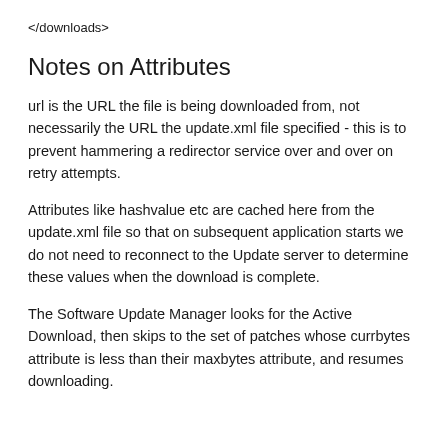</downloads>
Notes on Attributes
url is the URL the file is being downloaded from, not necessarily the URL the update.xml file specified - this is to prevent hammering a redirector service over and over on retry attempts.
Attributes like hashvalue etc are cached here from the update.xml file so that on subsequent application starts we do not need to reconnect to the Update server to determine these values when the download is complete.
The Software Update Manager looks for the Active Download, then skips to the set of patches whose currbytes attribute is less than their maxbytes attribute, and resumes downloading.